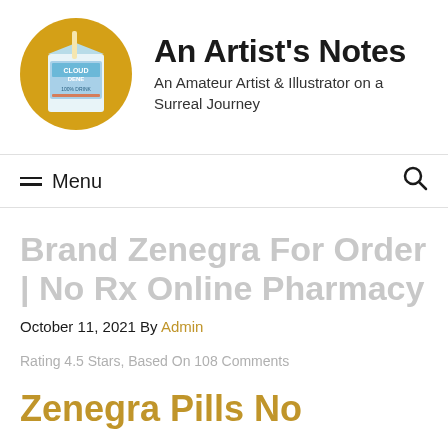[Figure (logo): Circular golden/amber logo with an illustrated juice box (Cloud Dew brand) in the center]
An Artist's Notes
An Amateur Artist & Illustrator on a Surreal Journey
≡ Menu
Brand Zenegra For Order | No Rx Online Pharmacy
October 11, 2021 By Admin
Rating 4.5 Stars, Based On 108 Comments
Zenegra Pills No